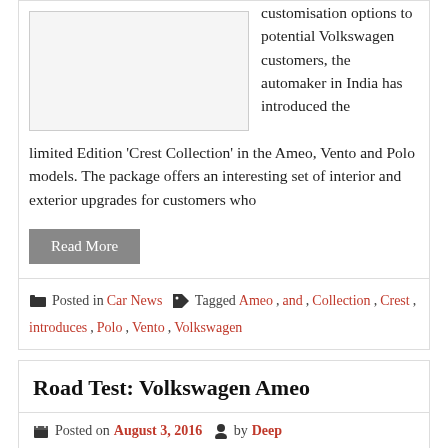[Figure (photo): Image placeholder (car photo, partially visible)]
customisation options to potential Volkswagen customers, the automaker in India has introduced the limited Edition ‘Crest Collection’ in the Ameo, Vento and Polo models. The package offers an interesting set of interior and exterior upgrades for customers who
Read More
Posted in Car News  Tagged Ameo, and, Collection, Crest, introduces, Polo, Vento, Volkswagen
Road Test: Volkswagen Ameo
Posted on August 3, 2016  by Deep
Best SIP Investment Plans Invest in best top funds &amp; avail higher returns. Invest in 2 Mins